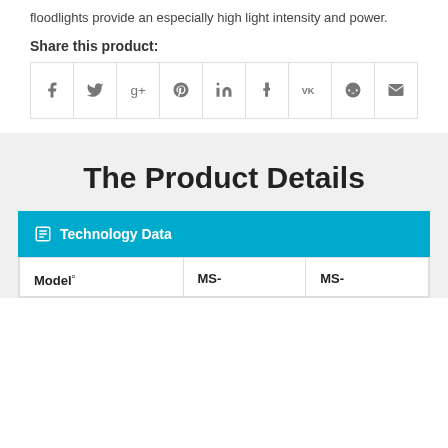floodlights provide an especially high light intensity and power.
Share this product:
[Figure (other): Row of social media sharing icons: Facebook, Twitter, Google+, Pinterest, LinkedIn, Tumblr, VK, Reddit, Email]
The Product Details
Technology Data
| Model | MS- | MS- |
| --- | --- | --- |